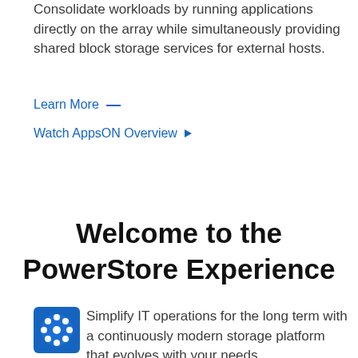Consolidate workloads by running applications directly on the array while simultaneously providing shared block storage services for external hosts.
Learn More —
Watch AppsON Overview ▶
Welcome to the PowerStore Experience
Simplify IT operations for the long term with a continuously modern storage platform that evolves with your needs.
[Figure (logo): Blue circular logo with white star/snowflake pattern]